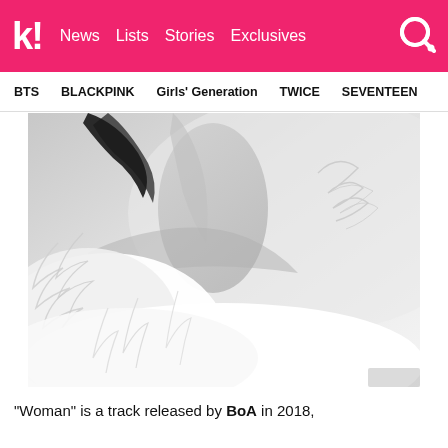k! News Lists Stories Exclusives
BTS BLACKPINK Girls' Generation TWICE SEVENTEEN
[Figure (photo): Black and white close-up photo of a woman with dark hair wearing a white feathered garment, showing her neck and shoulder area. The photo has a soft, elegant aesthetic.]
“Woman” is a track released by BoA in 2018,